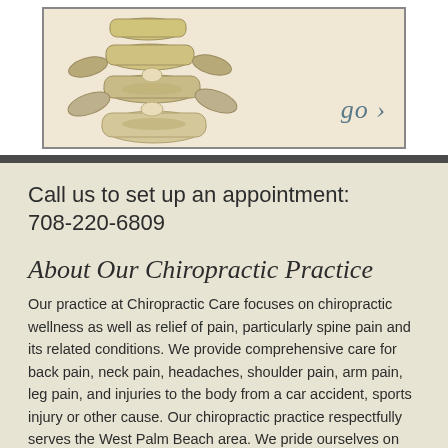[Figure (illustration): Chiropractic spine illustration with vertebrae shown in bone color, with a 'go ›' link in italic teal text on the right side]
Call us to set up an appointment: 708-220-6809
About Our Chiropractic Practice
Our practice at Chiropractic Care focuses on chiropractic wellness as well as relief of pain, particularly spine pain and its related conditions. We provide comprehensive care for back pain, neck pain, headaches, shoulder pain, arm pain, leg pain, and injuries to the body from a car accident, sports injury or other cause. Our chiropractic practice respectfully serves the West Palm Beach area. We pride ourselves on being patient-oriented and responsive to your needs be they about insurance filing or appointment making or your health and healing. We provide individualized treatment plans to meet your specific needs. If you're in need of a chiropractor in the West Palm